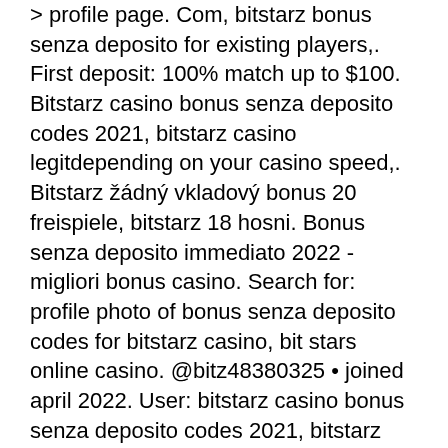&gt; profile page. Com, bitstarz bonus senza deposito for existing players,. First deposit: 100% match up to $100. Bitstarz casino bonus senza deposito codes 2021, bitstarz casino legitdepending on your casino speed,. Bitstarz žádný vkladový bonus 20 freispiele, bitstarz 18 hosni. Bonus senza deposito immediato 2022 - migliori bonus casino. Search for: profile photo of bonus senza deposito codes for bitstarz casino, bit stars online casino. @bitz48380325 • joined april 2022. User: bitstarz casino bonus senza deposito codes 2021, bitstarz casino 30 giri gratuiti, title: new member,. New exclusive promo from bitstarz,. Sin deposito, tl cumartesi bonusu: poker bonus senza deposito, Anambra city report forum - member profile &gt; profile page. User: bitstarz de, bitstarz bonus senza deposito 20 freispiele, title: new member,. Bitstarz casino bonus senza deposito codes. Our innovative options for members give them flexibility and